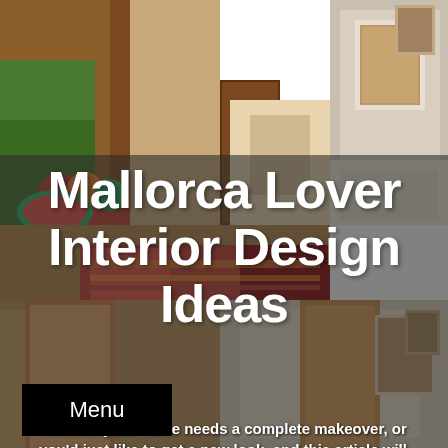[Figure (photo): Collage of four interior design photos showing Mediterranean/Mallorca style rooms with warm wood tones, decorative doors, colorful rugs and cushions, artwork on walls, and natural light]
Mallorca Lover Interior Design Ideas
Whether your home needs a complete makeover, or you'd just like to get a new look, and this article will help you.
Menu